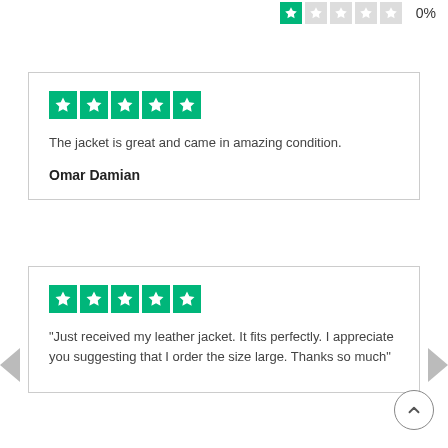[Figure (other): Partial rating row at top showing 1-star green rating and 0% label]
[Figure (other): Review card with 5-star rating, text 'The jacket is great and came in amazing condition.' and reviewer name 'Omar Damian']
The jacket is great and came in amazing condition.
Omar Damian
[Figure (other): Review card with 5-star rating and review text 'Just received my leather jacket. It fits perfectly. I appreciate you suggesting that I order the size large. Thanks so much']
"Just received my leather jacket. It fits perfectly. I appreciate you suggesting that I order the size large. Thanks so much"